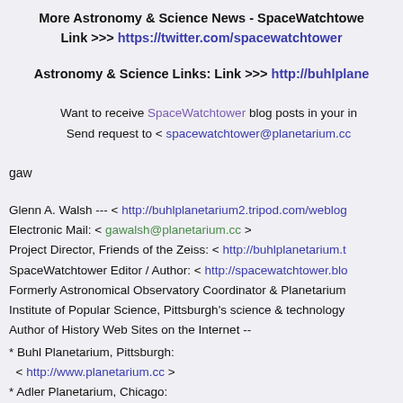More Astronomy & Science News - SpaceWatchtower Link >>> https://twitter.com/spacewatchtower
Astronomy & Science Links: Link >>> http://buhlplane...
Want to receive SpaceWatchtower blog posts in your in... Send request to < spacewatchtower@planetarium.cc...
gaw
Glenn A. Walsh --- < http://buhlplanetarium2.tripod.com/weblog...
Electronic Mail: < gawalsh@planetarium.cc >
Project Director, Friends of the Zeiss: < http://buhlplanetarium.t...
SpaceWatchtower Editor / Author: < http://spacewatchtower.blo...
Formerly Astronomical Observatory Coordinator & Planetarium... Institute of Popular Science, Pittsburgh's science & technology... Author of History Web Sites on the Internet --
* Buhl Planetarium, Pittsburgh: < http://www.planetarium.cc >
* Adler Planetarium, Chicago: < http://adlerplanetarium.tripod.com >
* Astronomer, Educator, Optician, John A. Brashear: